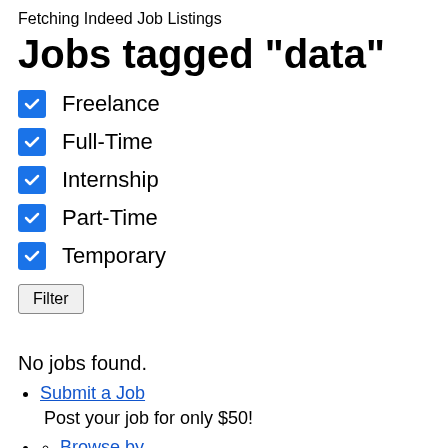Fetching Indeed Job Listings
Jobs tagged "data"
Freelance (checked)
Full-Time (checked)
Internship (checked)
Part-Time (checked)
Temporary (checked)
Filter
No jobs found.
Submit a Job
Post your job for only $50!
Browse by…
Tags